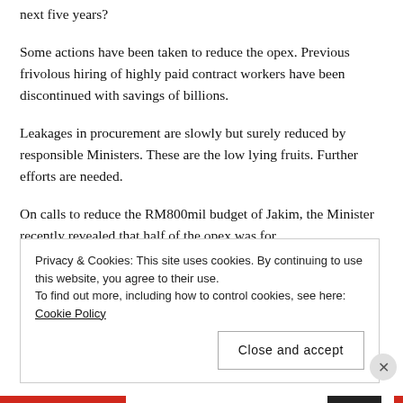next five years?
Some actions have been taken to reduce the opex. Previous frivolous hiring of highly paid contract workers have been discontinued with savings of billions.
Leakages in procurement are slowly but surely reduced by responsible Ministers. These are the low lying fruits. Further efforts are needed.
On calls to reduce the RM800mil budget of Jakim, the Minister recently revealed that half of the opex was for
Privacy & Cookies: This site uses cookies. By continuing to use this website, you agree to their use. To find out more, including how to control cookies, see here: Cookie Policy